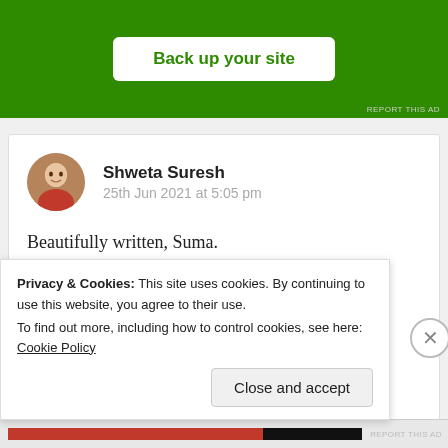[Figure (infographic): Green advertisement banner with white rounded button labeled 'Back up your site' in green text]
REPORT THIS AD
Shweta Suresh
25th Jun 2021 at 5:05 pm
Beautifully written, Suma.

Rinsing the sad face

Under the morning rays
Privacy & Cookies: This site uses cookies. By continuing to use this website, you agree to their use.
To find out more, including how to control cookies, see here: Cookie Policy
Close and accept
REPORT THIS AD